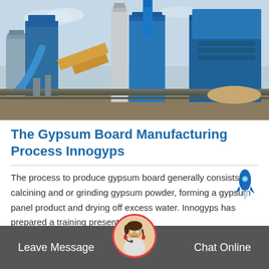[Figure (photo): Industrial gypsum board manufacturing facility with large blue structures, silos, conveyor systems, and heavy machinery on a construction site under a cloudy sky.]
The Gypsum Board Manufacturing Process Innogyps
The process to produce gypsum board generally consists of calcining and or grinding gypsum powder, forming a gypsum panel product and drying off excess water. Innogyps has prepared a training presentation…
Get Price
Leave Message   Chat Online